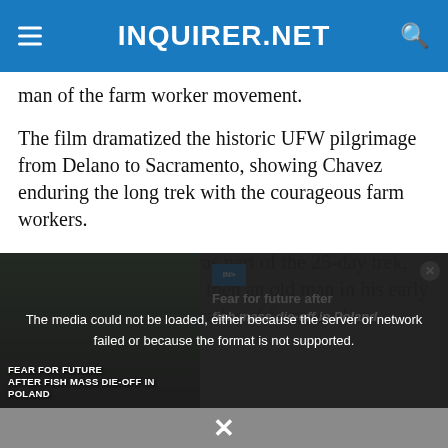INQUIRER.NET
man of the farm worker movement.
The film dramatized the historic UFW pilgrimage from Delano to Sacramento, showing Chavez enduring the long trek with the courageous farm workers.
Well, Vera Cruz also was part of the 25-day trek, even though he was by then an old man in his early sixties, a veteran of decades of farm worker
[Figure (screenshot): Video player overlay showing 'Fear for future after fish mass die-off in Poland' with media error message: 'The media could not be loaded, either because the server or network failed or because the format is not supported.' Close button (X) at bottom center.]